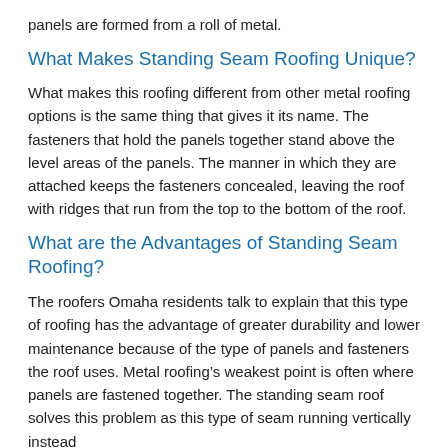panels are formed from a roll of metal.
What Makes Standing Seam Roofing Unique?
What makes this roofing different from other metal roofing options is the same thing that gives it its name. The fasteners that hold the panels together stand above the level areas of the panels. The manner in which they are attached keeps the fasteners concealed, leaving the roof with ridges that run from the top to the bottom of the roof.
What are the Advantages of Standing Seam Roofing?
The roofers Omaha residents talk to explain that this type of roofing has the advantage of greater durability and lower maintenance because of the type of panels and fasteners the roof uses. Metal roofing’s weakest point is often where panels are fastened together. The standing seam roof solves this problem as this type of seam running vertically instead